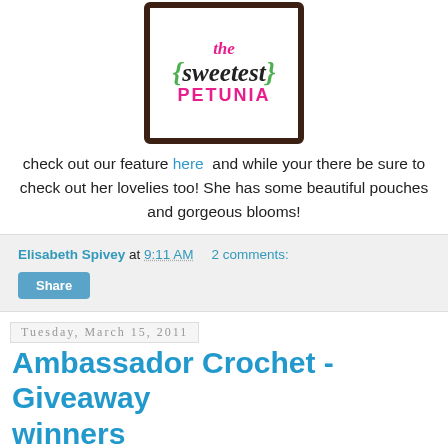[Figure (logo): The Sweetest Petunia logo with pink text, dark brown scalloped border, and green curly braces]
check out our feature here and while your there be sure to check out her lovelies too! She has some beautiful pouches and gorgeous blooms!
Elisabeth Spivey at 9:11 AM  2 comments:
Share
Tuesday, March 15, 2011
Ambassador Crochet - Giveaway winners
[Figure (photo): Photo of a person wearing a purple crocheted hat]